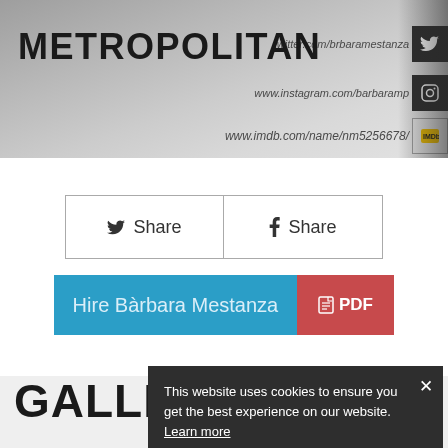[Figure (screenshot): Metropolitan talent agency website screenshot showing header with METROPOLITAN logo, social media links (Twitter, Instagram, IMDB), share buttons, Hire Bàrbara Mestanza and PDF buttons, gallery section, and cookie notice popup]
METROPOLITAN
twitter.com/brbaramestanza
www.instagram.com/barbaramp
www.imdb.com/name/nm5256678/
Share   Share
Hire Bàrbara Mestanza
PDF
GALLERY
This website uses cookies to ensure you get the best experience on our website. Learn more